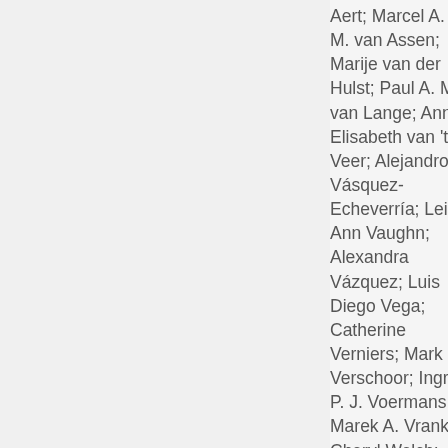Aert; Marcel A. L. M. van Assen; Marije van der Hulst; Paul A. M. van Lange; Anna Elisabeth van 't Veer; Alejandro Vásquez-Echeverría; Leigh Ann Vaughn; Alexandra Vázquez; Luis Diego Vega; Catherine Verniers; Mark Verschoor; Ingrid P. J. Voermans; Marek A. Vranka; Cheryl Welch; Aaron L. Wichma